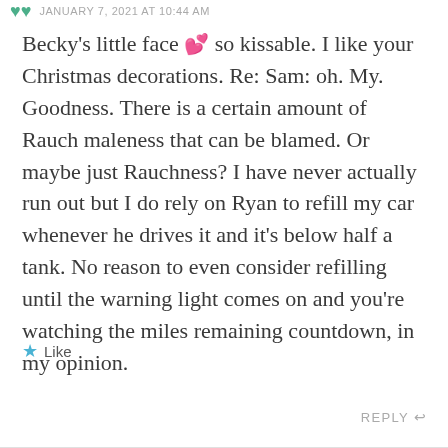JANUARY 7, 2021 AT 10:44 AM
Becky’s little face 💕 so kissable. I like your Christmas decorations. Re: Sam: oh. My. Goodness. There is a certain amount of Rauch maleness that can be blamed. Or maybe just Rauchness? I have never actually run out but I do rely on Ryan to refill my car whenever he drives it and it’s below half a tank. No reason to even consider refilling until the warning light comes on and you’re watching the miles remaining countdown, in my opinion.
★ Like
REPLY →